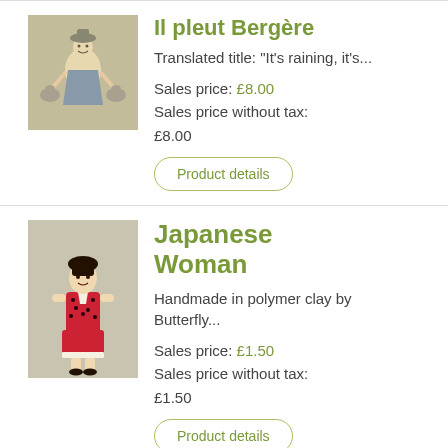[Figure (photo): Small square product image of a needlework or embroidery design showing a figure with animals]
Il pleut Bergère
Translated title: "It's raining, it's...
Sales price: £8.00
Sales price without tax: £8.00
Product details
[Figure (photo): Product image of a handmade Japanese Woman figurine in polymer clay, wearing traditional red and black outfit]
Japanese Woman
Handmade in polymer clay by Butterfly...
Sales price: £1.50
Sales price without tax: £1.50
Product details